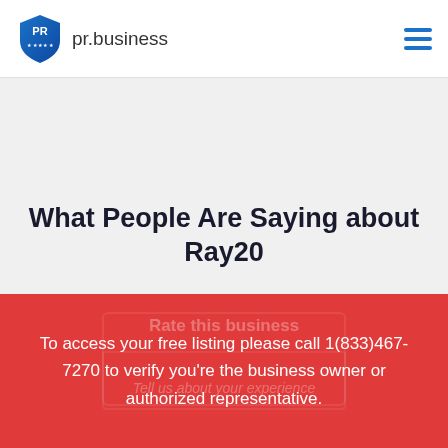pr.business
What People Are Saying about Ray20
To access your free listing please call 1(833)467-7270 to verify you're the business owner or authorized representative.